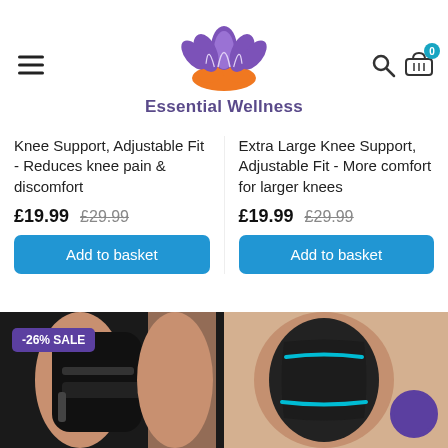Essential Wellness
Knee Support, Adjustable Fit - Reduces knee pain & discomfort
£19.99 £29.99
Extra Large Knee Support, Adjustable Fit - More comfort for larger knees
£19.99 £29.99
Add to basket
Add to basket
[Figure (photo): Knee support brace on leg with -26% SALE badge]
[Figure (photo): Extra large knee support with teal stripes and chat bubble icon]